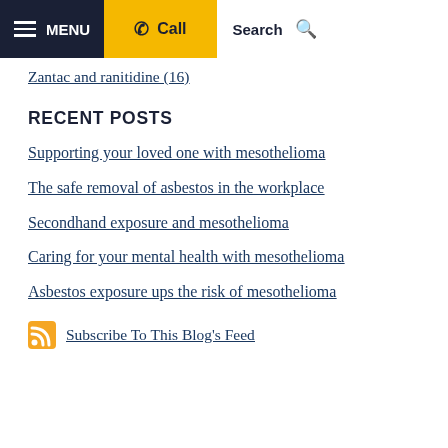MENU | Call | Search
Zantac and ranitidine (16)
RECENT POSTS
Supporting your loved one with mesothelioma
The safe removal of asbestos in the workplace
Secondhand exposure and mesothelioma
Caring for your mental health with mesothelioma
Asbestos exposure ups the risk of mesothelioma
Subscribe To This Blog's Feed